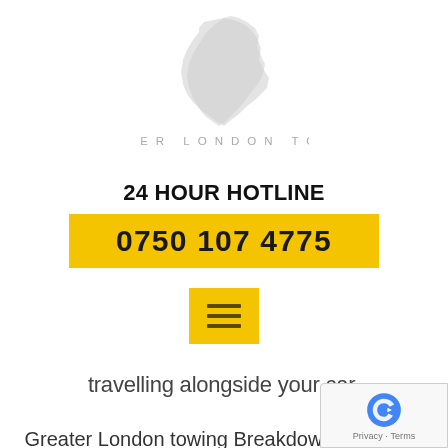[Figure (logo): Greater London Towing logo with grey London borough map outline and company name text]
24 HOUR HOTLINE
0750 107 4775
[Figure (other): Yellow hamburger menu button with three horizontal lines]
travelling alongside your car.
Greater London towing Breakdown Recovery Bushey services is committed to assist with all your car